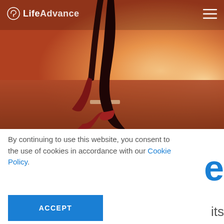[Figure (photo): A runner's legs from the knees down wearing red sneakers running on a road/track, warm orange-red sunset lighting. Website screenshot with LifeAdvance logo overlay in top left.]
By continuing to use this website, you consent to the use of cookies in accordance with our Cookie Policy.
ACCEPT